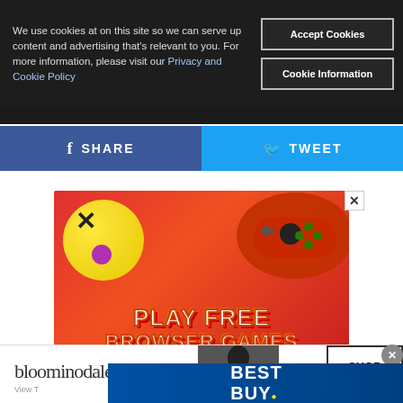We use cookies at on this site so we can serve up content and advertising that's relevant to you. For more information, please visit our Privacy and Cookie Policy
[Figure (screenshot): Cookie consent banner with Accept Cookies and Cookie Information buttons over a dark overlay]
[Figure (screenshot): Facebook Share button (blue) and Twitter Tweet button (cyan) social share bar]
[Figure (advertisement): PLAY FREE BROWSER GAMES advertisement with yellow emoji ball, red game controller on pink/red background]
[Figure (advertisement): Bloomingdales advertisement with fashion model and SHOP NOW button, overlaid by Best Buy blue banner]